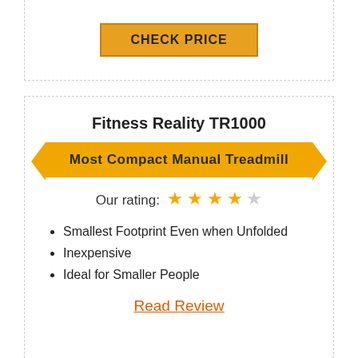[Figure (other): CHECK PRICE button with golden/amber background inside a dashed border card]
Fitness Reality TR1000
Most Compact Manual Treadmill
Our rating: 4 out of 5 stars
Smallest Footprint Even when Unfolded
Inexpensive
Ideal for Smaller People
Read Review